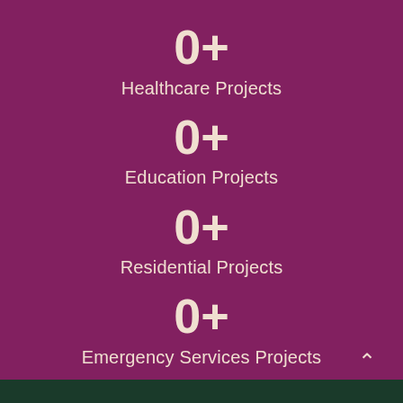0+
Healthcare Projects
0+
Education Projects
0+
Residential Projects
0+
Emergency Services Projects